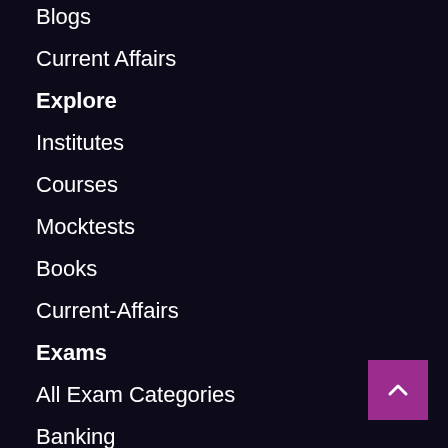Blogs
Current Affairs
Explore
Institutes
Courses
Mocktests
Books
Current-Affairs
Exams
All Exam Categories
Banking
Defence
NTA
Public Service Exams
SSC